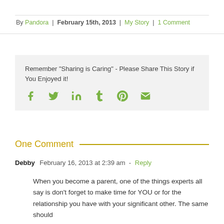By Pandora | February 15th, 2013 | My Story | 1 Comment
Remember 'Sharing is Caring' - Please Share This Story if You Enjoyed it!
[Figure (infographic): Social sharing icons: Facebook, Twitter, LinkedIn, Tumblr, Pinterest, Email]
One Comment
Debby  February 16, 2013 at 2:39 am  - Reply
When you become a parent, one of the things experts all say is don't forget to make time for YOU or for the relationship you have with your significant other. The same should